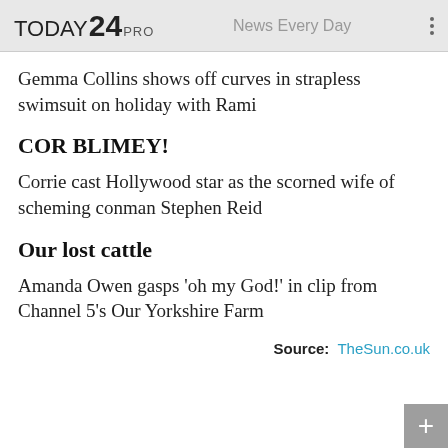TODAY24 PRO   News Every Day
Gemma Collins shows off curves in strapless swimsuit on holiday with Rami
COR BLIMEY!
Corrie cast Hollywood star as the scorned wife of scheming conman Stephen Reid
Our lost cattle
Amanda Owen gasps 'oh my God!' in clip from Channel 5's Our Yorkshire Farm
Source: TheSun.co.uk